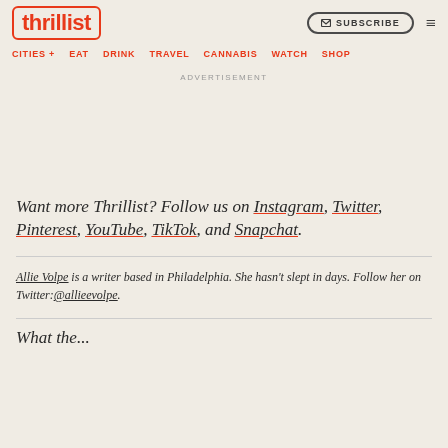thrillist | CITIES + EAT DRINK TRAVEL CANNABIS WATCH SHOP | SUBSCRIBE
ADVERTISEMENT
Want more Thrillist? Follow us on Instagram, Twitter, Pinterest, YouTube, TikTok, and Snapchat.
Allie Volpe is a writer based in Philadelphia. She hasn't slept in days. Follow her on Twitter: @allieevolpe.
What the...